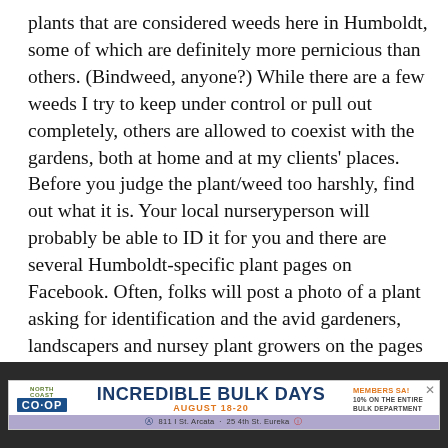plants that are considered weeds here in Humboldt, some of which are definitely more pernicious than others. (Bindweed, anyone?) While there are a few weeds I try to keep under control or pull out completely, others are allowed to coexist with the gardens, both at home and at my clients' places. Before you judge the plant/weed too harshly, find out what it is. Your local nurseryperson will probably be able to ID it for you and there are several Humboldt-specific plant pages on Facebook. Often, folks will post a photo of a plant asking for identification and the avid gardeners, landscapers and nursey plant growers on the pages are more than happy to answer plant ID questions.
A couple more plants that are considered weeds here in
[Figure (other): Advertisement banner for North Coast Co-op Incredible Bulk Days, August 18-20, Members Save 10% on the entire bulk department. 811 I St. Arcata · 25 4th St. Eureka]